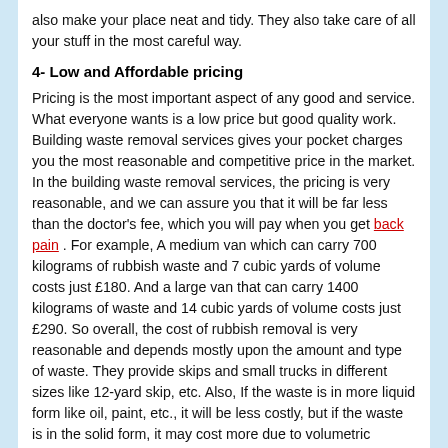also make your place neat and tidy. They also take care of all your stuff in the most careful way.
4- Low and Affordable pricing
Pricing is the most important aspect of any good and service. What everyone wants is a low price but good quality work. Building waste removal services gives your pocket charges you the most reasonable and competitive price in the market. In the building waste removal services, the pricing is very reasonable, and we can assure you that it will be far less than the doctor's fee, which you will pay when you get back pain . For example, A medium van which can carry 700 kilograms of rubbish waste and 7 cubic yards of volume costs just £180. And a large van that can carry 1400 kilograms of waste and 14 cubic yards of volume costs just £290. So overall, the cost of rubbish removal is very reasonable and depends mostly upon the amount and type of waste. They provide skips and small trucks in different sizes like 12-yard skip, etc. Also, If the waste is in more liquid form like oil, paint, etc., it will be less costly, but if the waste is in the solid form, it may cost more due to volumetric constraints.
5- Recycling
Following the 3 R's is the best way to save the environment. 3 R means Reduce, Reuse and Recycle. Many things like glasses, window panes, plastics, aluminum doors, etc. are thrown away by people when they clean building. But these can be of great use and still fulfill their needs when recycled. and building waste removal